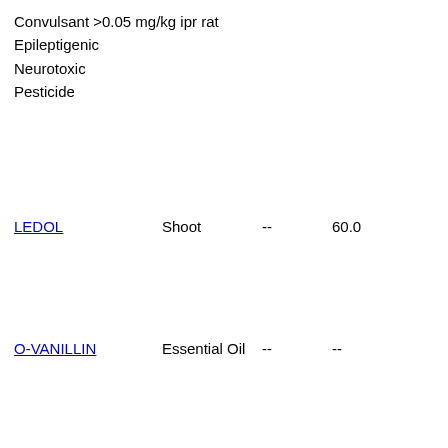Convulsant >0.05 mg/kg ipr rat
Epileptigenic
Neurotoxic
Pesticide
LEDOL    Shoot    --    60.0
O-VANILLIN    Essential Oil    --    --